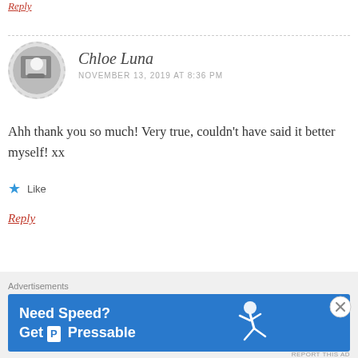Reply
Chloe Luna
NOVEMBER 13, 2019 AT 8:36 PM
Ahh thank you so much! Very true, couldn't have said it better myself! xx
Like
Reply
Advertisements
[Figure (logo): Parse.ly logo with leaf icon and bold text]
[Figure (photo): Partial image of person on right side of ad]
Advertisements
[Figure (infographic): Blue Pressable advertisement banner: Need Speed? Get P Pressable, with a running man silhouette]
REPORT THIS AD